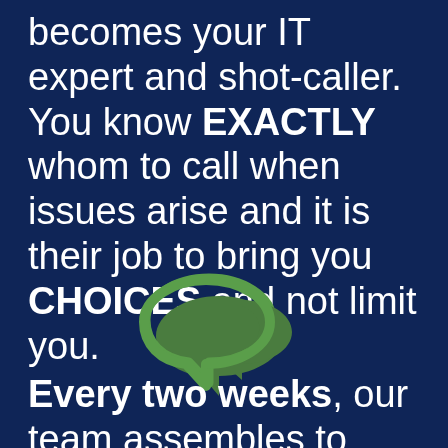becomes your IT expert and shot-caller. You know EXACTLY whom to call when issues arise and it is their job to bring you CHOICES and not limit you.
[Figure (illustration): Two overlapping speech bubble icons in dark olive/green color on a dark navy blue background, representing conversation or communication.]
Every two weeks, our team assembles to review what